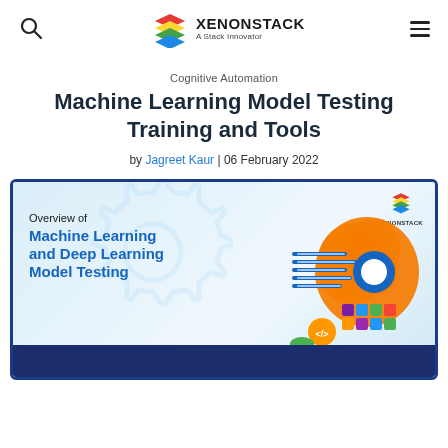XenonStack — A Stack Innovator
Cognitive Automation
Machine Learning Model Testing Training and Tools
by Jagreet Kaur | 06 February 2022
[Figure (illustration): Overview of Machine Learning and Deep Learning Model Testing — promotional hero image with brain graphic, code elements, and XenonStack branding]